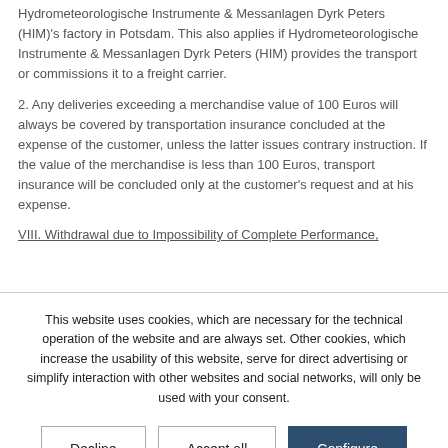Hydrometeorologische Instrumente & Messanlagen Dyrk Peters (HIM)'s factory in Potsdam. This also applies if Hydrometeorologische Instrumente & Messanlagen Dyrk Peters (HIM) provides the transport or commissions it to a freight carrier.
2. Any deliveries exceeding a merchandise value of 100 Euros will always be covered by transportation insurance concluded at the expense of the customer, unless the latter issues contrary instruction. If the value of the merchandise is less than 100 Euros, transport insurance will be concluded only at the customer's request and at his expense.
VIII. Withdrawal due to Impossibility of Complete Performance,
This website uses cookies, which are necessary for the technical operation of the website and are always set. Other cookies, which increase the usability of this website, serve for direct advertising or simplify interaction with other websites and social networks, will only be used with your consent.
Decline | Accept all | Configure